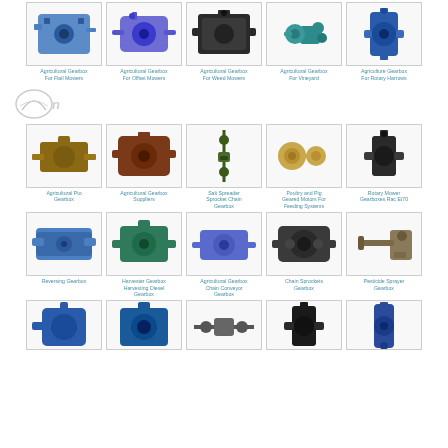[Figure (illustration): Grid of agricultural gearbox product images with captions - Row 1: Agricultural Gearbox For Flail Mowers, Agricultural Gearbox For Offset Mowers, Agricultural Gearbox For Weed Mowers, Agricultural Gearbox For Vineyard, Agriculture Gearbox For Rotary Harrows]
[Figure (logo): Script logo/brand mark in light gray]
[Figure (illustration): Grid of agricultural gearbox product images - Row 2: Agricultural Pto Gearbox, Agricultural Gearbox Suppliers, Salt Spreader Sprocket Chain Gearbox, Poultry and Pig Geared Motors For Feeding Systems, Rotary Mower Gearboxes Rac Et70]
[Figure (illustration): Grid of gearbox products - Row 3: Reversing Gearbox, Harvester Gearbox Harvesting Diesel Gearbox, Agricultural Gearbox Chain Conveyor Gearbox, Chain Sprockets Gearbox, Pesticide Sprayer Gearbox]
[Figure (illustration): Partial row of gearbox products at bottom - 5 items partially visible]